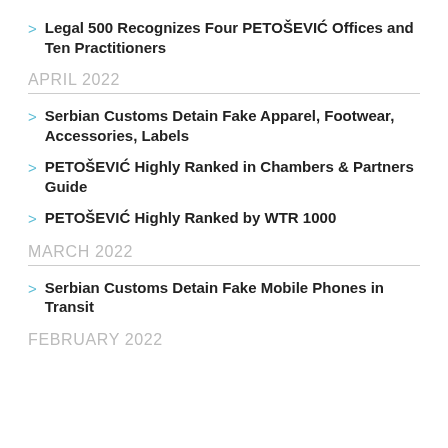Legal 500 Recognizes Four PETOŠEVIĆ Offices and Ten Practitioners
APRIL 2022
Serbian Customs Detain Fake Apparel, Footwear, Accessories, Labels
PETOŠEVIĆ Highly Ranked in Chambers & Partners Guide
PETOŠEVIĆ Highly Ranked by WTR 1000
MARCH 2022
Serbian Customs Detain Fake Mobile Phones in Transit
FEBRUARY 2022